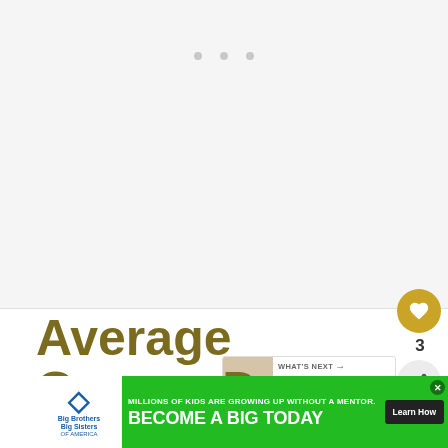[Figure (photo): Large hero image placeholder area, light gray background with three small grey dots centered near top]
Average Garage Door Repair Cost
[Figure (illustration): Gold circular like/heart button showing count of 3, and a share button below]
[Figure (screenshot): WHAT'S NEXT panel with thumbnail image and text 'Why Is Your Carpet...']
A ... of ...
[Figure (infographic): Green advertisement banner: Big Brothers Big Sisters logo. Text: MILLIONS OF KIDS ARE GROWING UP WITHOUT A MENTOR. BECOME A BIG TODAY. Learn How button.]